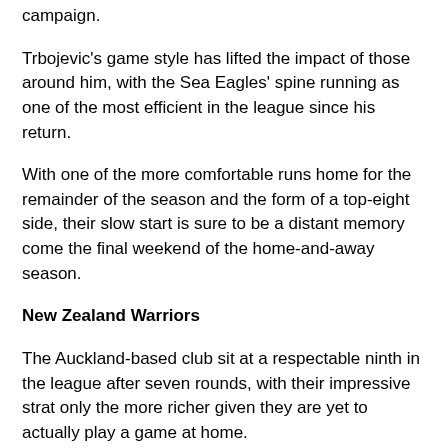campaign.
Trbojevic's game style has lifted the impact of those around him, with the Sea Eagles' spine running as one of the most efficient in the league since his return.
With one of the more comfortable runs home for the remainder of the season and the form of a top-eight side, their slow start is sure to be a distant memory come the final weekend of the home-and-away season.
New Zealand Warriors
The Auckland-based club sit at a respectable ninth in the league after seven rounds, with their impressive strat only the more richer given they are yet to actually play a game at home.